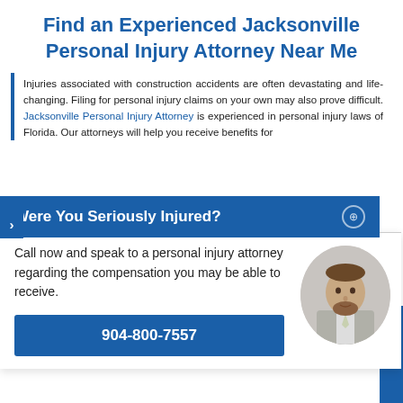Find an Experienced Jacksonville Personal Injury Attorney Near Me
Injuries associated with construction accidents are often devastating and life-changing. Filing for personal injury claims on your own may also prove difficult. Jacksonville Personal Injury Attorney is experienced in personal injury laws of Florida. Our attorneys will help you receive benefits for [es to FL. If -7557
[Figure (screenshot): Blue popup banner overlay with text 'Were You Seriously Injured?' and a close button]
Call now and speak to a personal injury attorney regarding the compensation you may be able to receive.
904-800-7557